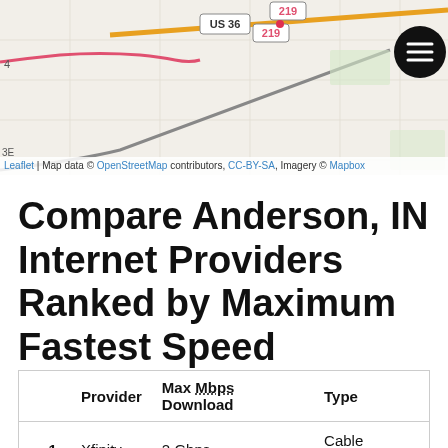[Figure (map): Street map of Anderson, IN area showing US 36 highway, route 219 markers, and surrounding road network with Leaflet/OpenStreetMap/Mapbox attribution]
Leaflet | Map data © OpenStreetMap contributors, CC-BY-SA, Imagery © Mapbox
Compare Anderson, IN Internet Providers Ranked by Maximum Fastest Speed
|  | Provider | Max Mbps Download | Type |
| --- | --- | --- | --- |
| 1. | Xfinity | 2 Gbps | Cable Internet, |